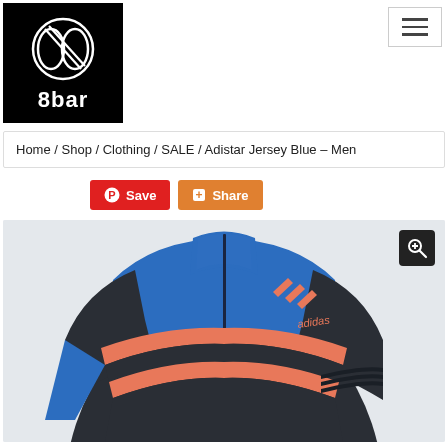[Figure (logo): 8bar brand logo: black square background with white infinity/wheel symbol and '8bar' text in white below]
[Figure (other): Hamburger menu icon (three horizontal lines) inside a light grey bordered rectangle]
Home / Shop / Clothing / SALE / Adistar Jersey Blue – Men
[Figure (other): Pinterest Save button (red) and Share button (orange)]
[Figure (photo): Blue and dark grey Adidas cycling jersey with coral/salmon horizontal stripes and Adidas logo on the shoulder, displayed on a mannequin torso against a light grey background. A dark zoom/magnify button is in the top right corner.]